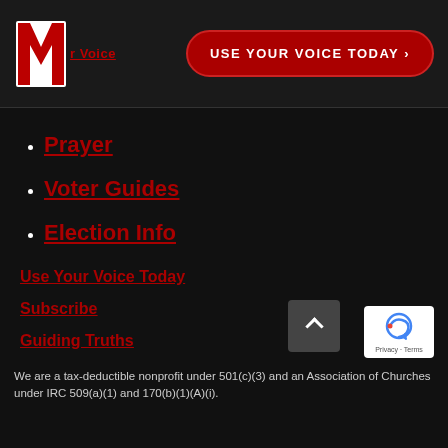[Figure (logo): M logo with red M letter and 'r Voice' text beneath, on dark header background]
USE YOUR VOICE TODAY >
Prayer
Voter Guides
Election Info
Use Your Voice Today
Subscribe
Guiding Truths
Donate
We are a tax-deductible nonprofit under 501(c)(3) and an Association of Churches under IRC 509(a)(1) and 170(b)(1)(A)(i).